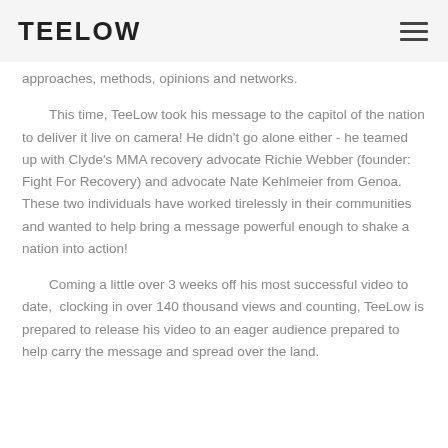TEELOW
approaches, methods, opinions and networks.
This time, TeeLow took his message to the capitol of the nation to deliver it live on camera! He didn't go alone either - he teamed up with Clyde's MMA recovery advocate Richie Webber (founder: Fight For Recovery) and advocate Nate Kehlmeier from Genoa. These two individuals have worked tirelessly in their communities and wanted to help bring a message powerful enough to shake a nation into action!
Coming a little over 3 weeks off his most successful video to date, clocking in over 140 thousand views and counting, TeeLow is prepared to release his video to an eager audience prepared to help carry the message and spread over the land.